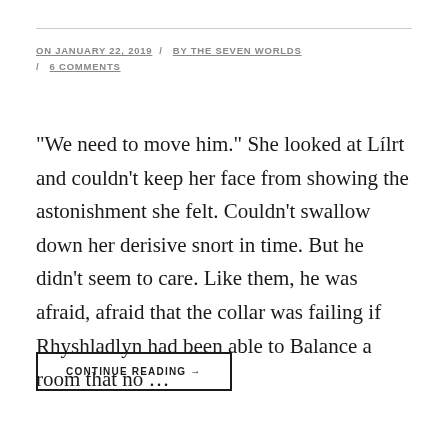ON JANUARY 22, 2019 / BY THE SEVEN WORLDS / 6 COMMENTS
"We need to move him." She looked at Lílrt and couldn't keep her face from showing the astonishment she felt. Couldn't swallow down her derisive snort in time. But he didn't seem to care. Like them, he was afraid, afraid that the collar was failing if Rhyshladlyn had been able to Balance a room that no ...
CONTINUE READING →